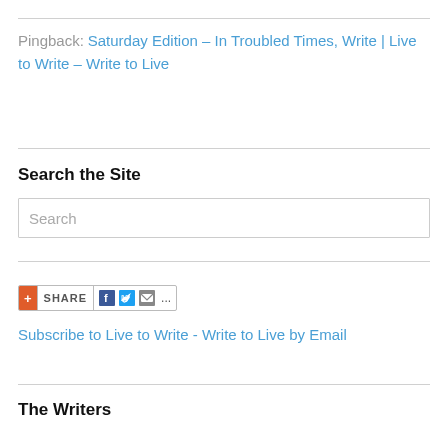Pingback: Saturday Edition – In Troubled Times, Write | Live to Write – Write to Live
Search the Site
Search
[Figure (other): Share widget with plus icon, SHARE label, Facebook, Twitter, email icons, and ellipsis]
Subscribe to Live to Write - Write to Live by Email
The Writers